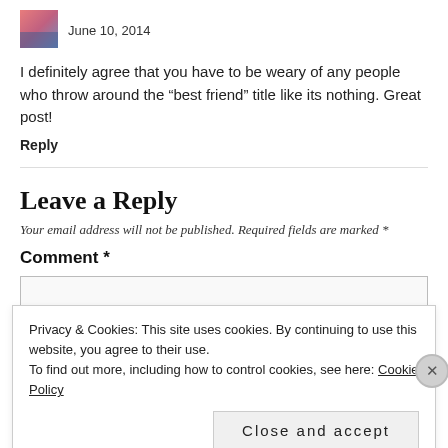[Figure (photo): Small square avatar image with pink/purple tones]
June 10, 2014
I definitely agree that you have to be weary of any people who throw around the “best friend” title like its nothing. Great post!
Reply
Leave a Reply
Your email address will not be published. Required fields are marked *
Comment *
Privacy & Cookies: This site uses cookies. By continuing to use this website, you agree to their use.
To find out more, including how to control cookies, see here: Cookie Policy
Close and accept